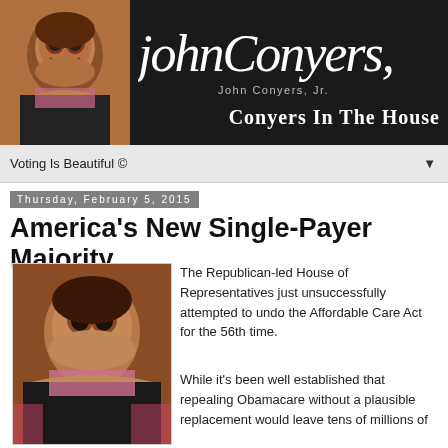[Figure (photo): Header banner with John Conyers photo on left and cursive signature logo plus 'Conyers In The House' text on black background]
Voting Is Beautiful ©
Thursday, February 5, 2015
America's New Single-Payer Majority
[Figure (photo): Portrait photo of John Conyers Jr., an older African American man in a suit with a pink shirt, smiling]
The Republican-led House of Representatives just unsuccessfully attempted to undo the Affordable Care Act for the 56th time.
While it's been well established that repealing Obamacare without a plausible replacement would leave tens of millions of